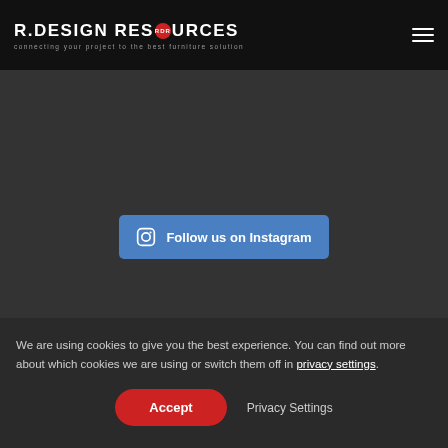R.DESIGN RESOURCES — connecting your project to the best furniture solution
[Figure (logo): R.DESIGN RESOURCES logo with RDR badge and tagline 'connecting your project to the best furniture solution']
Follow us on Instagram
We are using cookies to give you the best experience. You can find out more about which cookies we are using or switch them off in privacy settings.
Accept
Privacy Settings